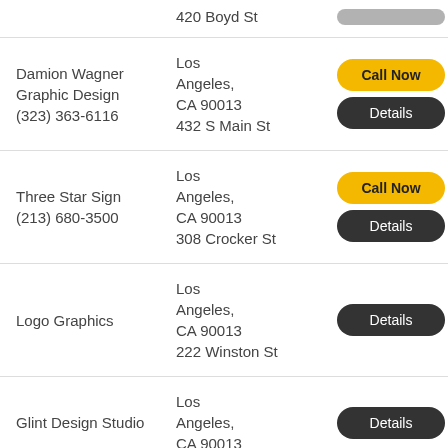420 Boyd St
Damion Wagner Graphic Design
(323) 363-6116
Los Angeles, CA 90013
432 S Main St
Three Star Sign
(213) 680-3500
Los Angeles, CA 90013
308 Crocker St
Logo Graphics
Los Angeles, CA 90013
222 Winston St
Glint Design Studio
Los Angeles, CA 90013